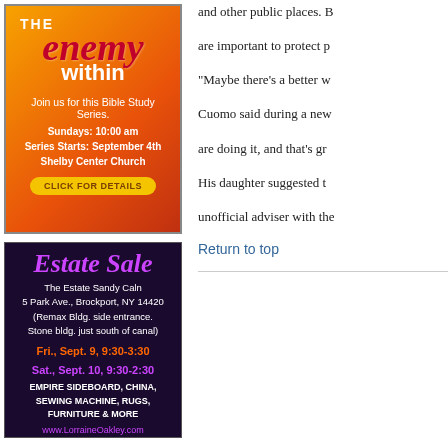[Figure (illustration): Advertisement for 'The Enemy Within' Bible Study Series at Shelby Center Church. Orange/red gradient background. Text: THE enemy within. Join us for this Bible Study Series. Sundays: 10:00 am. Series Starts: September 4th. Shelby Center Church. CLICK FOR DETAILS button.]
[Figure (illustration): Advertisement for Estate Sale. Dark purple background. Estate Sale in purple italic script. The Estate Sandy Caln, 5 Park Ave., Brockport, NY 14420 (Remax Bldg. side entrance. Stone bldg. just south of canal). Fri., Sept. 9, 9:30-3:30 in orange. Sat., Sept. 10, 9:30-2:30 in purple. EMPIRE SIDEBOARD, CHINA, SEWING MACHINE, RUGS, FURNITURE & MORE. www.LorraineOakley.com]
and other public places. B
are important to protect p
“Maybe there’s a better w
Cuomo said during a new
are doing it, and that’s gr
His daughter suggested t
unofficial adviser with the
Return to top